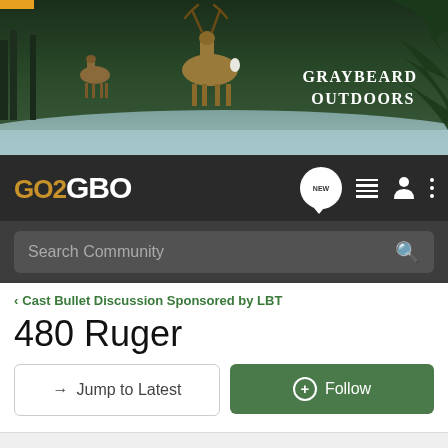[Figure (photo): Graybeard Outdoors banner with deer in a forest field and pine branches, dark green background with 'GRAYBEARD OUTDOORS' text in white]
GO2GBO
Search Community
< Cast Bullet Discussion Sponsored by LBT
480 Ruger
→ Jump to Latest
+ Follow
1 - 6 of 6 Posts
turk · Registered
Joined Dec 24, 2002 · 190 Posts